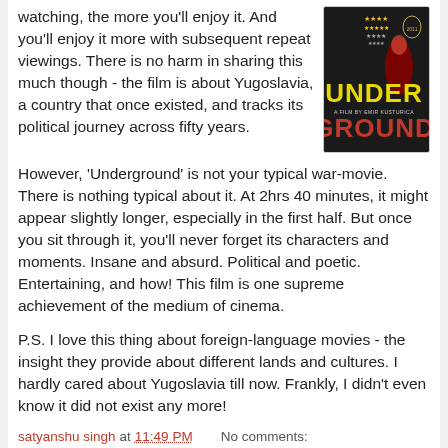watching, the more you'll enjoy it. And you'll enjoy it more with subsequent repeat viewings. There is no harm in sharing this much though - the film is about Yugoslavia, a country that once existed, and tracks its political journey across fifty years.
[Figure (photo): Movie poster for 'Underground' - a film by Emir Kusturica, showing the title in yellow and red text on a dark background with star ratings]
However, 'Underground' is not your typical war-movie. There is nothing typical about it. At 2hrs 40 minutes, it might appear slightly longer, especially in the first half. But once you sit through it, you'll never forget its characters and moments. Insane and absurd. Political and poetic. Entertaining, and how! This film is one supreme achievement of the medium of cinema.
P.S. I love this thing about foreign-language movies - the insight they provide about different lands and cultures. I hardly cared about Yugoslavia till now. Frankly, I didn't even know it did not exist any more!
satyanshu singh at 11:49 PM    No comments: